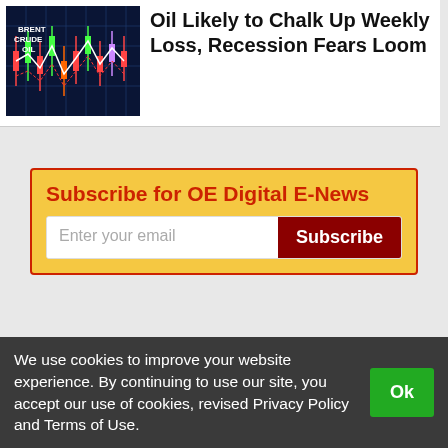[Figure (screenshot): Brent Crude Oil candlestick chart thumbnail with text 'BRENT CRUDE OIL' overlaid on a dark blue grid background with colorful chart lines]
Oil Likely to Chalk Up Weekly Loss, Recession Fears Loom
Subscribe for OE Digital E-News
Enter your email
Subscribe
We use cookies to improve your website experience. By continuing to use our site, you accept our use of cookies, revised Privacy Policy and Terms of Use.
Ok